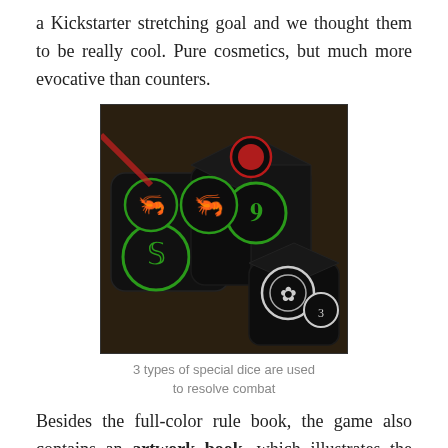a Kickstarter stretching goal and we thought them to be really cool. Pure cosmetics, but much more evocative than counters.
[Figure (photo): Photo of three black custom dice with green, white, and red circular symbols on their faces, arranged on a light wooden surface.]
3 types of special dice are used to resolve combat
Besides the full-color rule book, the game also contains an artwork book, which illustrates the origination process of many illustrations with comments and explanations by